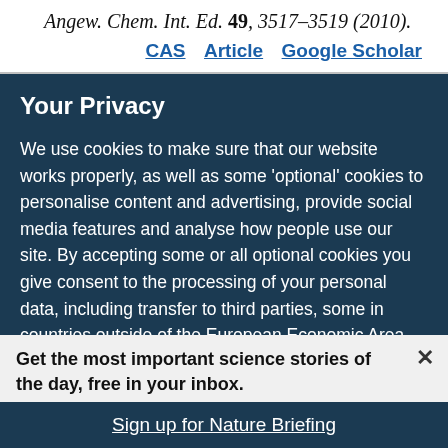Angew. Chem. Int. Ed. 49, 3517–3519 (2010).
CAS   Article   Google Scholar
Your Privacy
We use cookies to make sure that our website works properly, as well as some 'optional' cookies to personalise content and advertising, provide social media features and analyse how people use our site. By accepting some or all optional cookies you give consent to the processing of your personal data, including transfer to third parties, some in countries outside of the European Economic Area that do not offer the same data protection standards as the country where you live. You can decide which optional cookies to accept by clicking on 'Manage Settings', where you can also find more information about how your personal data is
Get the most important science stories of the day, free in your inbox.
Sign up for Nature Briefing